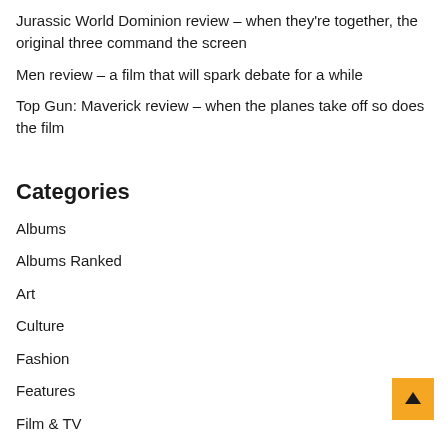Jurassic World Dominion review – when they're together, the original three command the screen
Men review – a film that will spark debate for a while
Top Gun: Maverick review – when the planes take off so does the film
Categories
Albums
Albums Ranked
Art
Culture
Fashion
Features
Film & TV
Interviews
Interviews